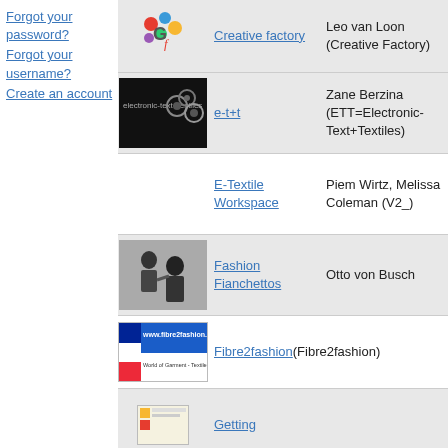Forgot your password?
Forgot your username?
Create an account
| Image | Name | Creator |
| --- | --- | --- |
| [Creative Factory logo] | Creative factory | Leo van Loon (Creative Factory) |
| [e-t+t image] | e-t+t | Zane Berzina (ETT=Electronic-Text+Textiles) |
|  | E-Textile Workspace | Piem Wirtz, Melissa Coleman (V2_) |
| [Fashion Fianchettos image] | Fashion Fianchettos | Otto von Busch |
| [Fibre2fashion logo] | Fibre2fashion | (Fibre2fashion) |
| [Getting image] | Getting |  |